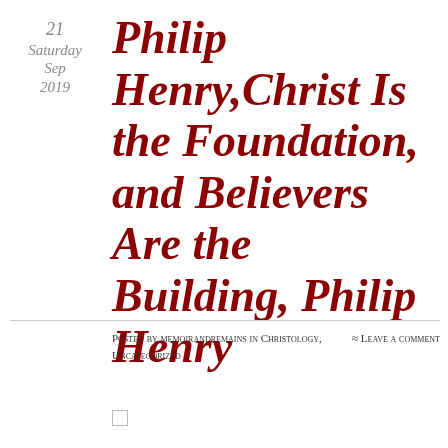21
Saturday
Sep
2019
Philip Henry,Christ Is the Foundation, and Believers Are the Building, Philip Henry
Posted by memoirandremains in Christology, Uncategorized
≈ Leave a comment